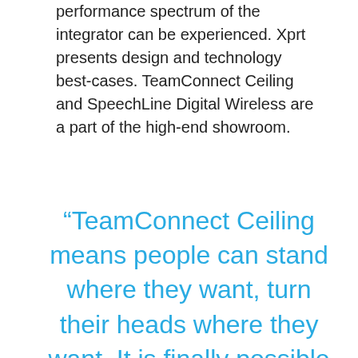performance spectrum of the integrator can be experienced. Xprt presents design and technology best-cases. TeamConnect Ceiling and SpeechLine Digital Wireless are a part of the high-end showroom.
“TeamConnect Ceiling means people can stand where they want, turn their heads where they want. It is finally possible to use the room completely